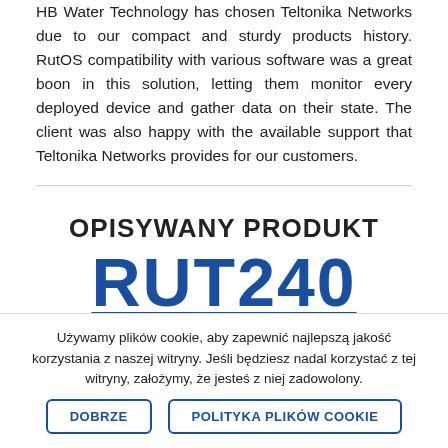HB Water Technology has chosen Teltonika Networks due to our compact and sturdy products history. RutOS compatibility with various software was a great boon in this solution, letting them monitor every deployed device and gather data on their state. The client was also happy with the available support that Teltonika Networks provides for our customers.
OPISYWANY PRODUKT
RUT240
PRZEMYSŁOWY ROUTER MOBILNY
Używamy plików cookie, aby zapewnić najlepszą jakość korzystania z naszej witryny. Jeśli będziesz nadal korzystać z tej witryny, założymy, że jesteś z niej zadowolony.
DOBRZE
POLITYKA PLIKÓW COOKIE